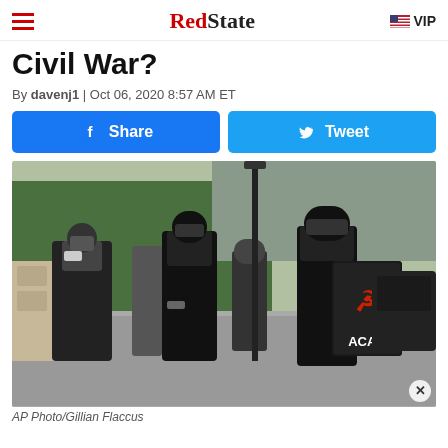RedState | VIP
Civil War?
By davenj1 | Oct 06, 2020 8:57 AM ET
[Figure (other): Facebook Share button and Twitter Tweet button side by side]
[Figure (photo): Several people dressed in black with face coverings walking on a sidewalk. One person on the right holds a black shield with a red hammer and sickle symbol and the text ACAB. Trees and city buildings visible in background.]
AP Photo/Gillian Flaccus